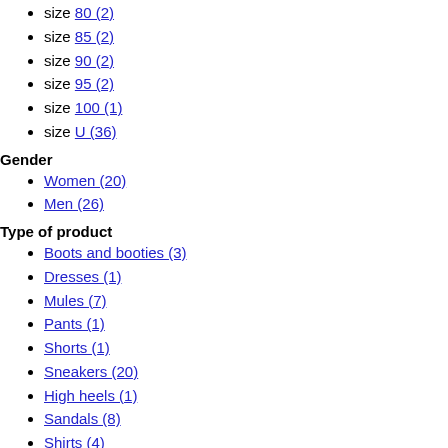size 80 (2)
size 85 (2)
size 90 (2)
size 95 (2)
size 100 (1)
size U (36)
Gender
Women (20)
Men (26)
Type of product
Boots and booties (3)
Dresses (1)
Mules (7)
Pants (1)
Shorts (1)
Sneakers (20)
High heels (1)
Sandals (8)
Shirts (4)